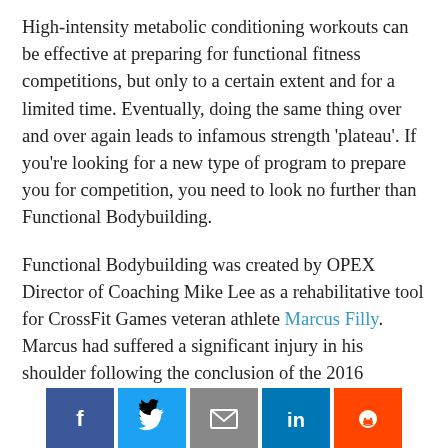High-intensity metabolic conditioning workouts can be effective at preparing for functional fitness competitions, but only to a certain extent and for a limited time. Eventually, doing the same thing over and over again leads to infamous strength 'plateau'. If you're looking for a new type of program to prepare you for competition, you need to look no further than Functional Bodybuilding.
Functional Bodybuilding was created by OPEX Director of Coaching Mike Lee as a rehabilitative tool for CrossFit Games veteran athlete Marcus Filly. Marcus had suffered a significant injury in his shoulder following the conclusion of the 2016 competitive season but still wished to continue [competing; text continues below]
[Figure (other): Social sharing bar with Facebook, Twitter, Email, LinkedIn, and Reddit buttons]